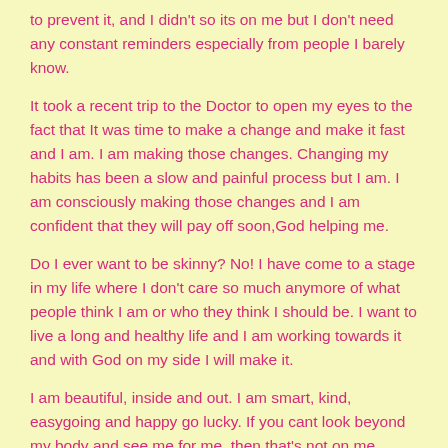to prevent it, and I didn't so its on me but I don't need any constant reminders especially from people I barely know.
It took a recent trip to the Doctor to open my eyes to the fact that It was time to make a change and make it fast and I am. I am making those changes. Changing my habits has been a slow and painful process but I am. I am consciously making those changes and I am confident that they will pay off soon,God helping me.
Do I ever want to be skinny? No! I have come to a stage in my life where I don't care so much anymore of what people think I am or who they think I should be. I want to live a long and healthy life and I am working towards it and with God on my side I will make it.
I am beautiful, inside and out. I am smart, kind, easygoing and happy go lucky. If you cant look beyond my body and see me for me, then that's not on me.
I am thankful to my mother, my sister and my brothers, my aunts